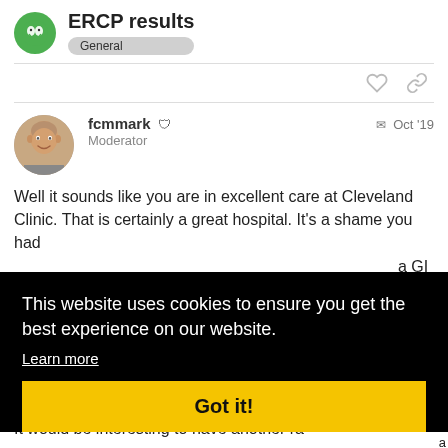ERCP results
General
fcmmark Moderator Oct '19
Well it sounds like you are in excellent care at Cleveland Clinic. That is certainly a great hospital. It's a shame you had a GI had a ess, tor for in got d my
This website uses cookies to ensure you get the best experience on our website.
Learn more
Got it!
It would be interesting to have another ra